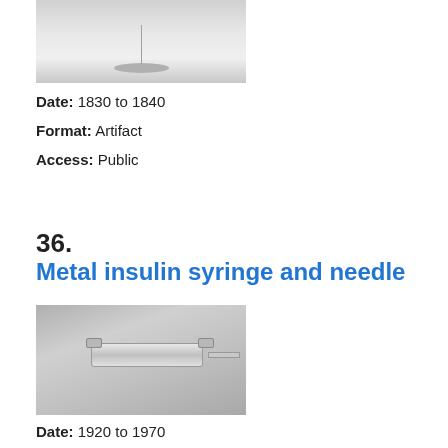[Figure (photo): Photograph of a medical artifact (partial view) showing a dish or pan shape on a stem, against a light grey background]
Date: 1830 to 1840
Format: Artifact
Access: Public
36.
Metal insulin syringe and needle
[Figure (photo): Photograph of a metal insulin syringe and needle lying on a grey surface, showing the cylindrical barrel and thumb rings]
Date: 1920 to 1970